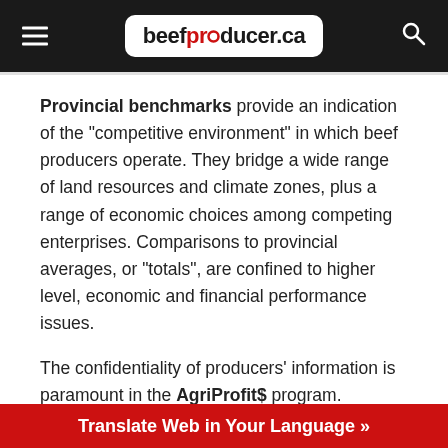beefproducer.ca
Provincial benchmarks provide an indication of the “competitive environment” in which beef producers operate. They bridge a wide range of land resources and climate zones, plus a range of economic choices among competing enterprises. Comparisons to provincial averages, or “totals”, are confined to higher level, economic and financial performance issues.
The confidentiality of producers’ information is paramount in the AgriProfit$ program. Producer information is held in strict confidence. Only aggregated, non-identifying information is published and made available to the general public and organizations for research
Translate Web in Your Language »